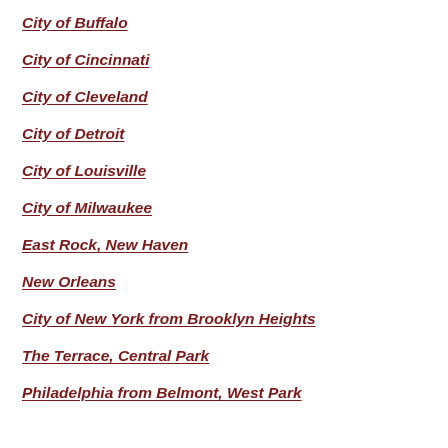City of Buffalo
City of Cincinnati
City of Cleveland
City of Detroit
City of Louisville
City of Milwaukee
East Rock, New Haven
New Orleans
City of New York from Brooklyn Heights
The Terrace, Central Park
Philadelphia from Belmont, West Park